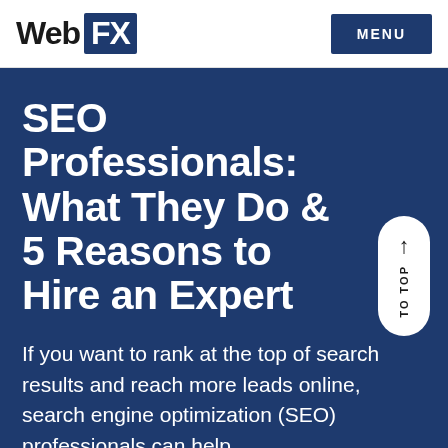WebFX | MENU
SEO Professionals: What They Do & 5 Reasons to Hire an Expert
If you want to rank at the top of search results and reach more leads online, search engine optimization (SEO) professionals can help.